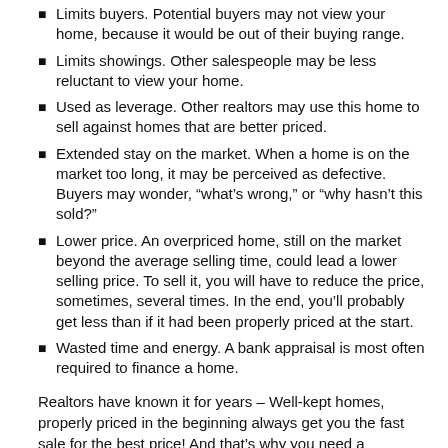Limits buyers. Potential buyers may not view your home, because it would be out of their buying range.
Limits showings. Other salespeople may be less reluctant to view your home.
Used as leverage. Other realtors may use this home to sell against homes that are better priced.
Extended stay on the market. When a home is on the market too long, it may be perceived as defective. Buyers may wonder, “what’s wrong,” or “why hasn’t this sold?”
Lower price. An overpriced home, still on the market beyond the average selling time, could lead a lower selling price. To sell it, you will have to reduce the price, sometimes, several times. In the end, you’ll probably get less than if it had been properly priced at the start.
Wasted time and energy. A bank appraisal is most often required to finance a home.
Realtors have known it for years – Well-kept homes, properly priced in the beginning always get you the fast sale for the best price! And that’s why you need a professional to assist you in the selling of your home.